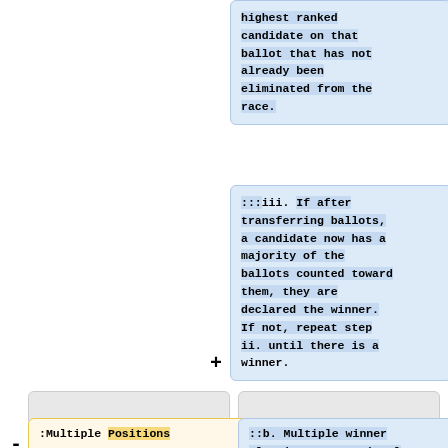highest ranked candidate on that ballot that has not already been eliminated from the race.
:::iii. If after transferring ballots, a candidate now has a majority of the ballots counted toward them, they are declared the winner. If not, repeat step ii. until there is a winner.
:Multiple Positions
::b. Multiple winner elections - Fractional ti l t f ll